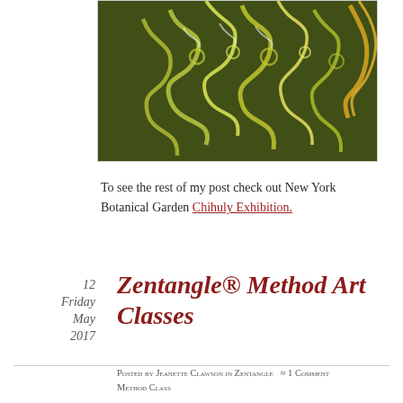[Figure (photo): Colorful curling glass art sculpture with green and golden yellow swirling tendrils against a dark background, part of a Chihuly exhibition at New York Botanical Garden.]
To see the rest of my post check out New York Botanical Garden Chihuly Exhibition.
12
Friday
May
2017
Zentangle® Method Art Classes
Posted by Jeanette Clawson in Zentangle ≈ 1 Comment Method Class
Mandala Meet Up is offered through the Morris County Art Association, 10 Catherine Lane.